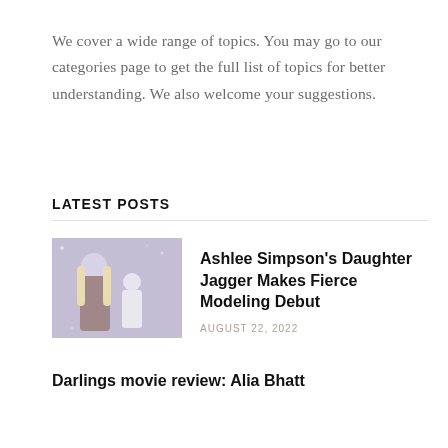We cover a wide range of topics. You may go to our categories page to get the full list of topics for better understanding. We also welcome your suggestions.
LATEST POSTS
[Figure (photo): Photo of Ashlee Simpson and her daughter Jagger at an event]
Ashlee Simpson's Daughter Jagger Makes Fierce Modeling Debut
AUGUST 22, 2022
Darlings movie review: Alia Bhatt